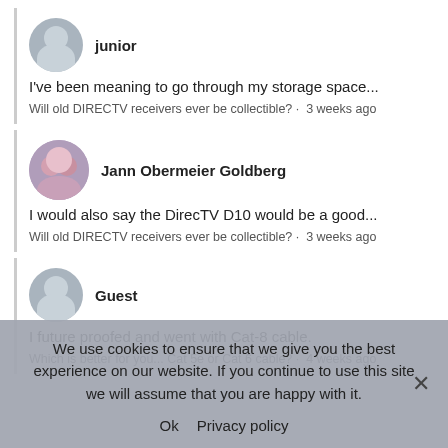junior
I've been meaning to go through my storage space...
Will old DIRECTV receivers ever be collectible? · 3 weeks ago
Jann Obermeier Goldberg
I would also say the DirecTV D10 would be a good...
Will old DIRECTV receivers ever be collectible? · 3 weeks ago
Guest
I future proofed and went with Cat-8 cable.
Which is better for you... Cat 5e or Cat 6 cable? · 4 weeks ago
We use cookies to ensure that we give you the best experience on our website. If you continue to use this site we will assume that you are happy with it.
Ok   Privacy policy